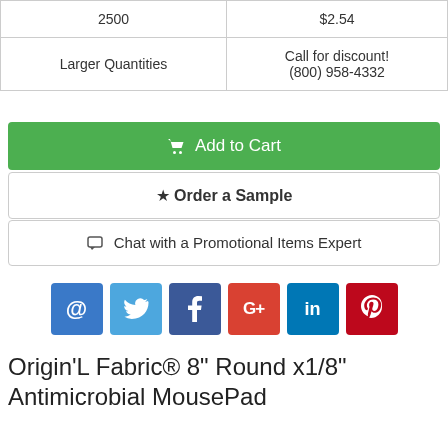| 2500 | $2.54 |
| Larger Quantities | Call for discount!
(800) 958-4332 |
🛒 Add to Cart
★ Order a Sample
💬 Chat with a Promotional Items Expert
[Figure (infographic): Social media sharing icons: email (@), Twitter, Facebook, Google+, LinkedIn, Pinterest]
Origin'L Fabric® 8" Round x1/8" Antimicrobial MousePad
Item Number:
BGR8
Description: